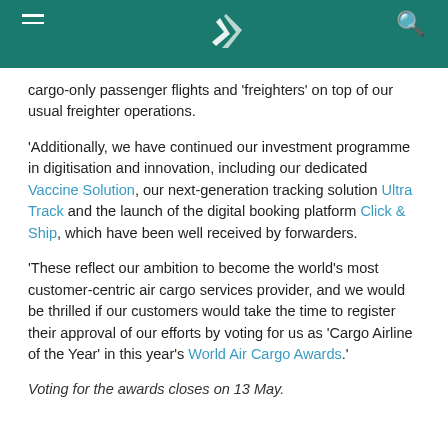Cathay Pacific – navigation header with hamburger menu, logo, and search icon
cargo-only passenger flights and 'freighters' on top of our usual freighter operations.
'Additionally, we have continued our investment programme in digitisation and innovation, including our dedicated Vaccine Solution, our next-generation tracking solution Ultra Track and the launch of the digital booking platform Click & Ship, which have been well received by forwarders.
'These reflect our ambition to become the world's most customer-centric air cargo services provider, and we would be thrilled if our customers would take the time to register their approval of our efforts by voting for us as 'Cargo Airline of the Year' in this year's World Air Cargo Awards.'
Voting for the awards closes on 13 May.